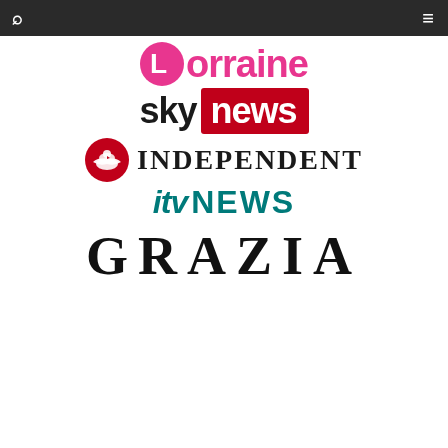Navigation bar with search and menu icons
[Figure (logo): Lorraine TV show logo — pink circle with white L and pink 'orraine' text]
[Figure (logo): Sky News logo — black 'sky' text and red rectangle with white 'news' text]
[Figure (logo): The Independent newspaper logo — red circle with white eagle and 'INDEPENDENT' text in serif]
[Figure (logo): ITV News logo — teal italic 'itv' and bold 'NEWS' text]
[Figure (logo): Grazia magazine logo — large spaced serif 'GRAZIA' text]